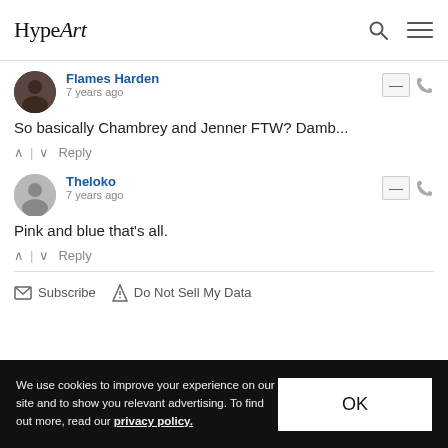HypeArt
Flames Harden
7 years ago
So basically Chambrey and Jenner FTW? Damb...
Theloko
7 years ago
Pink and blue that's all.
Subscribe   Do Not Sell My Data
We use cookies to improve your experience on our site and to show you relevant advertising. To find out more, read our privacy policy.